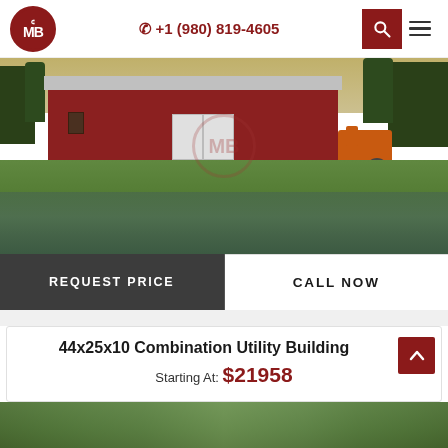CMB logo | +1 (980) 819-4605
[Figure (photo): A red metal farm building/barn set in a green rural landscape with a pond reflection in the foreground and trees in the background. An orange tractor/excavator is visible on the right side.]
REQUEST PRICE
CALL NOW
44x25x10 Combination Utility Building
Starting At: $21958
[Figure (photo): Bottom portion of a product listing showing a metal building in a green landscape setting.]